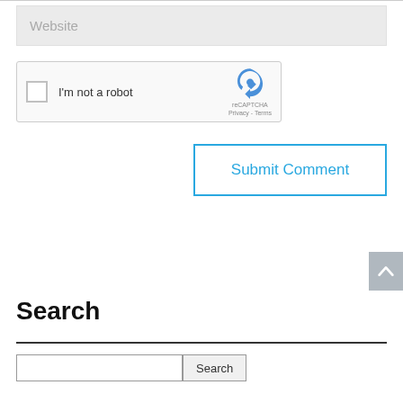[Figure (screenshot): Website text input field with placeholder text 'Website' on a light grey background]
[Figure (screenshot): reCAPTCHA widget with checkbox labeled 'I'm not a robot' and reCAPTCHA logo with Privacy and Terms links]
[Figure (screenshot): Submit Comment button with blue border and blue text on white background]
[Figure (screenshot): Grey scroll-to-top button with upward chevron arrow icon]
Search
[Figure (screenshot): Search input field and Search button]